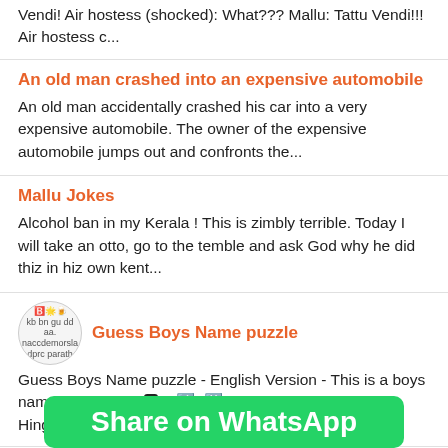Vendi! Air hostess (shocked): What??? Mallu: Tattu Vendi!!! Air hostess c...
An old man crashed into an expensive automobile
An old man accidentally crashed his car into a very expensive automobile. The owner of the expensive automobile jumps out and confronts the...
Mallu Jokes
Alcohol ban in my Kerala ! This is zimbly terrible. Today I will take an otto, go to the temble and ask God why he did thiz in hiz own kent...
Guess Boys Name puzzle
Guess Boys Name puzzle - English Version - This is a boys name, what is it ? 🅱2  🔜  🔛 Your time starts now. - Hinglish Ver...
N...
Share on WhatsApp